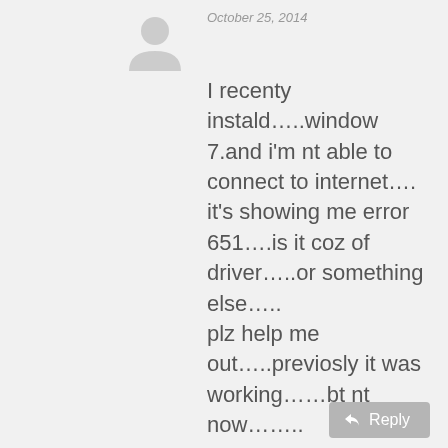[Figure (illustration): Generic user avatar silhouette in gray]
October 25, 2014
I recenty instald…..window 7.and i'm nt able to connect to internet….
it's showing me error 651….is it coz of driver…..or something else…..
plz help me out…..previosly it was working……bt nt now……..
Reply